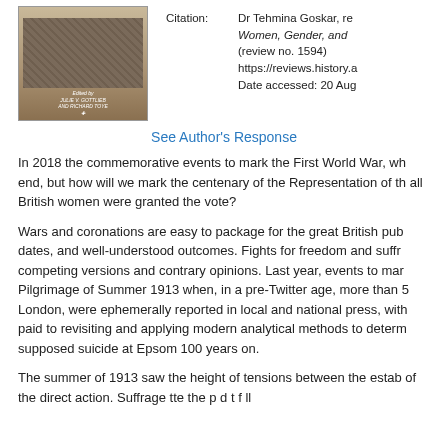[Figure (photo): Book cover image showing an edited volume with a historical photograph, edited by Julie V. Gottlieb and Richard Toye]
Citation: Dr Tehmina Goskar, re Women, Gender, and (review no. 1594) https://reviews.history.a Date accessed: 20 Aug
See Author's Response
In 2018 the commemorative events to mark the First World War, wh end, but how will we mark the centenary of the Representation of th all British women were granted the vote?
Wars and coronations are easy to package for the great British pub dates, and well-understood outcomes. Fights for freedom and suffr competing versions and contrary opinions. Last year, events to mar Pilgrimage of Summer 1913 when, in a pre-Twitter age, more than 5 London, were ephemerally reported in local and national press, with paid to revisiting and applying modern analytical methods to determ supposed suicide at Epsom 100 years on.
The summer of 1913 saw the height of tensions between the estab of the direct action. Suffrage tte the p d t f ll